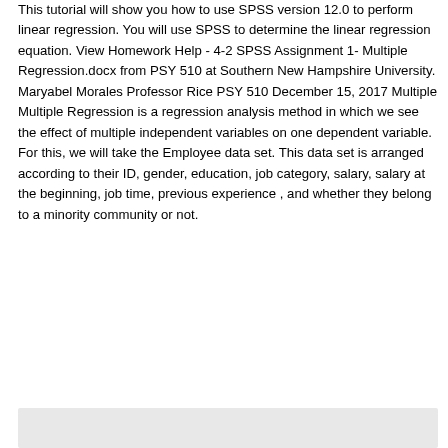This tutorial will show you how to use SPSS version 12.0 to perform linear regression. You will use SPSS to determine the linear regression equation. View Homework Help - 4-2 SPSS Assignment 1- Multiple Regression.docx from PSY 510 at Southern New Hampshire University. Maryabel Morales Professor Rice PSY 510 December 15, 2017 Multiple Multiple Regression is a regression analysis method in which we see the effect of multiple independent variables on one dependent variable. For this, we will take the Employee data set. This data set is arranged according to their ID, gender, education, job category, salary, salary at the beginning, job time, previous experience , and whether they belong to a minority community or not.